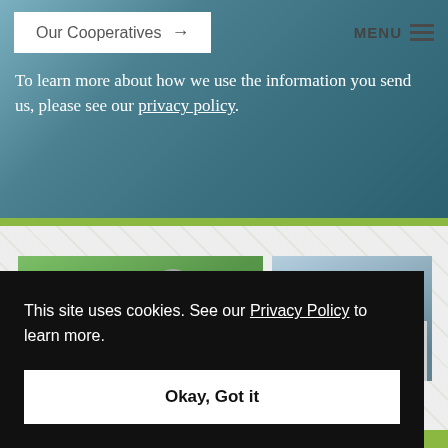[Figure (screenshot): Website navigation bar with 'Our Cooperatives →' button and MENU icon on dark/blurred background]
To learn more about how we use the information you send us, please see our privacy policy.
[Figure (photo): Two men smiling outdoors among green foliage; a building partially visible to the right]
This site uses cookies. See our Privacy Policy to learn more.
Okay, Got it